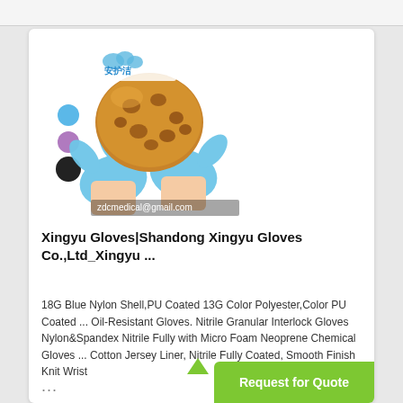[Figure (photo): Product listing image showing two blue nitrile gloves holding a bread roll, with a Chinese brand logo (安护洁) in top left, three color swatches (blue, purple, black) on left side, and watermark text 'zdcmedical@gmail.com' at the bottom. The image represents Xingyu gloves.]
Xingyu Gloves|Shandong Xingyu Gloves Co.,Ltd_Xingyu ...
18G Blue Nylon Shell,PU Coated 13G Color Polyester,Color PU Coated ... Oil-Resistant Gloves. Nitrile Granular Interlock Gloves Nylon&Spandex Nitrile Fully with Micro Foam Neoprene Chemical Gloves ... Cotton Jersey Liner, Nitrile Fully Coated, Smooth Finish Knit Wrist
...
Request for Quote